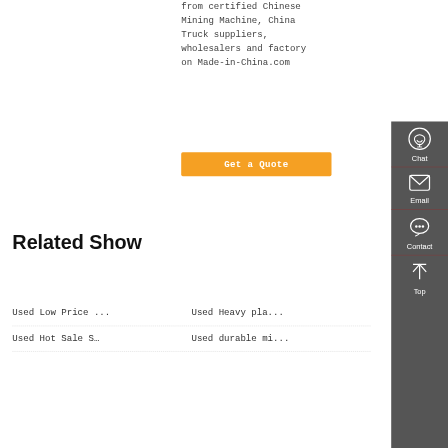from certified Chinese Mining Machine, China Truck suppliers, wholesalers and factory on Made-in-China.com
Get a Quote
Related Show
Used Low Price …
Used Heavy pla...
Used Hot Sale S…
Used durable mi...